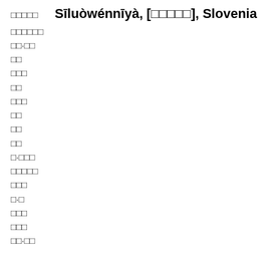□□□□□  Sīluòwénnīyà, [□□□□□], Slovenia
□□□□□□
□□·□□
□□
□□□
□□
□□□
□□
□□
□□
□·□□□
□□□□□
□□□
□·□
□□□
□□□
□□·□□